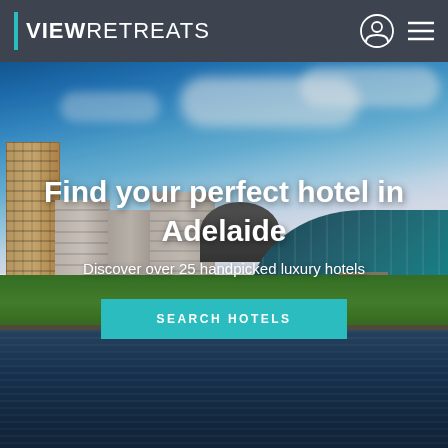VIEW RETREATS
[Figure (photo): Aerial/ground-level photo of Adelaide city skyline with the River Torrens in the foreground, showing tall buildings, the Adelaide Oval, trees, and blue sky.]
Find your perfect hotel in Adelaide
Discover over 25 handpicked luxury hotels
SEARCH HOTELS